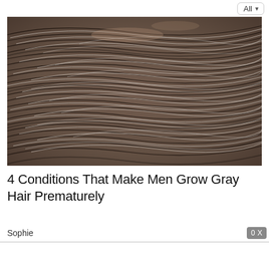All
[Figure (photo): Close-up photograph of a man's scalp showing dark and gray/silver hair mixed together, viewed from above at an angle]
4 Conditions That Make Men Grow Gray Hair Prematurely
Sophie
0 X